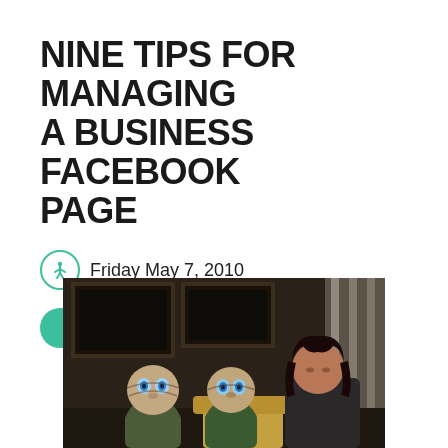NINE TIPS FOR MANAGING A BUSINESS FACEBOOK PAGE
Friday May 7, 2010
Reading Time: 7minutes
[Figure (photo): A woman seated on a sofa with two E.T. alien puppets/dolls, framed pictures on dark wall in background, wooden stair railing visible on right]